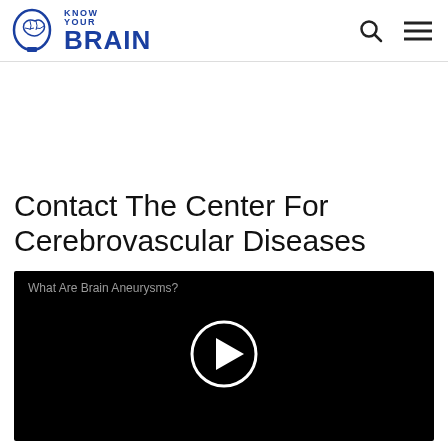KNOW YOUR BRAIN
Contact The Center For Cerebrovascular Diseases
[Figure (screenshot): Video thumbnail with black background showing 'What Are Brain Aneurysms?' label in top-left and a circular play button in the center]